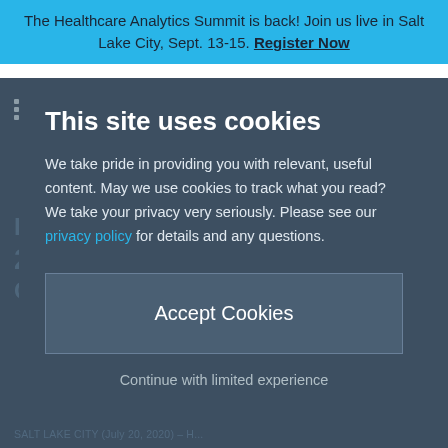The Healthcare Analytics Summit is back! Join us live in Salt Lake City, Sept. 13-15. Register Now
This site uses cookies
We take pride in providing you with relevant, useful content. May we use cookies to track what you read? We take your privacy very seriously. Please see our privacy policy for details and any questions.
Accept Cookies
Continue with limited experience